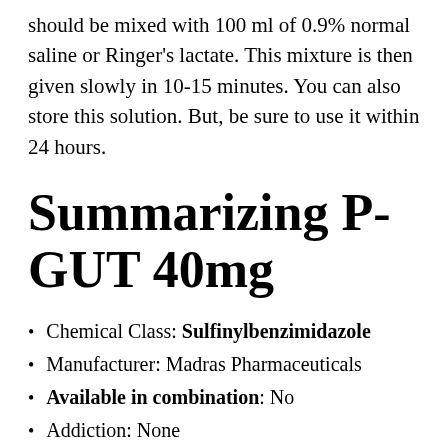should be mixed with 100 ml of 0.9% normal saline or Ringer's lactate. This mixture is then given slowly in 10-15 minutes. You can also store this solution. But, be sure to use it within 24 hours.
Summarizing P-GUT 40mg
Chemical Class: Sulfinylbenzimidazole
Manufacturer: Madras Pharmaceuticals
Available in combination: No
Addiction: None
Bioavailability: 70-80%
Metabolism: Liver